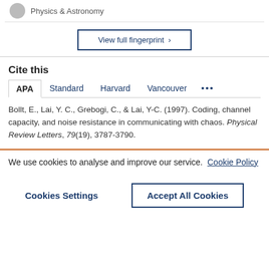Physics & Astronomy
View full fingerprint ›
Cite this
APA | Standard | Harvard | Vancouver | ...
Bollt, E., Lai, Y. C., Grebogi, C., & Lai, Y-C. (1997). Coding, channel capacity, and noise resistance in communicating with chaos. Physical Review Letters, 79(19), 3787-3790.
We use cookies to analyse and improve our service. Cookie Policy
Cookies Settings
Accept All Cookies